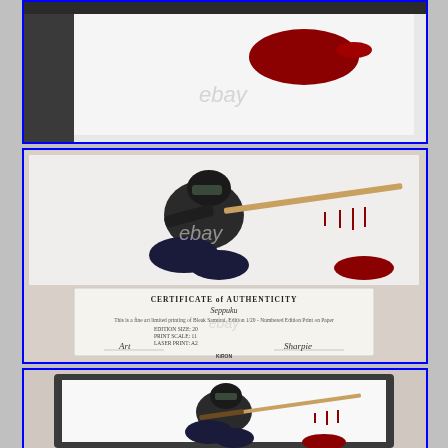[Figure (photo): Close-up of artwork showing red blood splatter on white background with 'ebay' watermark]
[Figure (photo): A kneeling ninja/warrior figure in black gear holding a katana, with red blood splatter on white background, and a Certificate of Authenticity card below reading 'CERTIFICATE of AUTHENTICITY - Seppuku' with artist edition info and signatures, ebay watermark, published by KiRon]
[Figure (photo): Framed print of the same kneeling ninja/warrior figure in black gear holding a bloody katana on white background, shown in a dark frame]